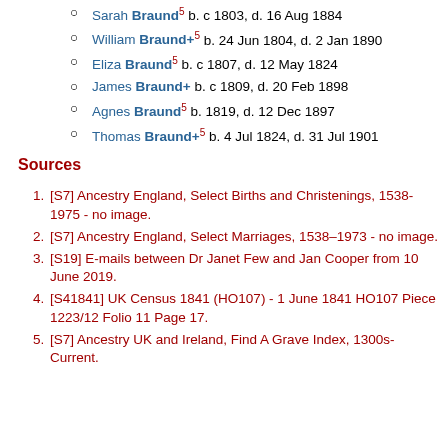Sarah Braund⁵ b. c 1803, d. 16 Aug 1884
William Braund+⁵ b. 24 Jun 1804, d. 2 Jan 1890
Eliza Braund⁵ b. c 1807, d. 12 May 1824
James Braund+ b. c 1809, d. 20 Feb 1898
Agnes Braund⁵ b. 1819, d. 12 Dec 1897
Thomas Braund+⁵ b. 4 Jul 1824, d. 31 Jul 1901
Sources
[S7] Ancestry England, Select Births and Christenings, 1538-1975 - no image.
[S7] Ancestry England, Select Marriages, 1538–1973 - no image.
[S19] E-mails between Dr Janet Few and Jan Cooper from 10 June 2019.
[S41841] UK Census 1841 (HO107) - 1 June 1841 HO107 Piece 1223/12 Folio 11 Page 17.
[S7] Ancestry UK and Ireland, Find A Grave Index, 1300s-Current.